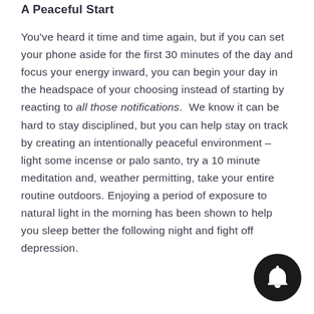A Peaceful Start
You've heard it time and time again, but if you can set your phone aside for the first 30 minutes of the day and focus your energy inward, you can begin your day in the headspace of your choosing instead of starting by reacting to all those notifications. We know it can be hard to stay disciplined, but you can help stay on track by creating an intentionally peaceful environment – light some incense or palo santo, try a 10 minute meditation and, weather permitting, take your entire routine outdoors. Enjoying a period of exposure to natural light in the morning has been shown to help you sleep better the following night and fight off depression.
[Figure (illustration): Black circular bell notification icon in bottom right corner]